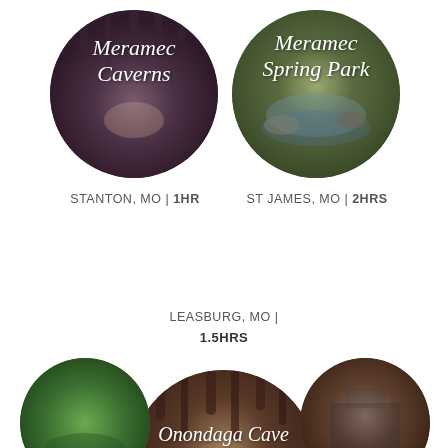[Figure (illustration): Circular photo of Meramec Caverns cave interior with script text overlay]
[Figure (illustration): Circular photo of Meramec Spring Park waterfall/nature with script text overlay]
STANTON, MO | 1HR
ST JAMES, MO | 2HRS
[Figure (illustration): Circular photo of Onondaga Cave State Park cave interior with script text overlay]
LEASBURG, MO | 1.5HRS
[Figure (illustration): Partial circular photo at bottom left - green nature scene]
[Figure (illustration): Partial circular photo at bottom right - building/structure scene]